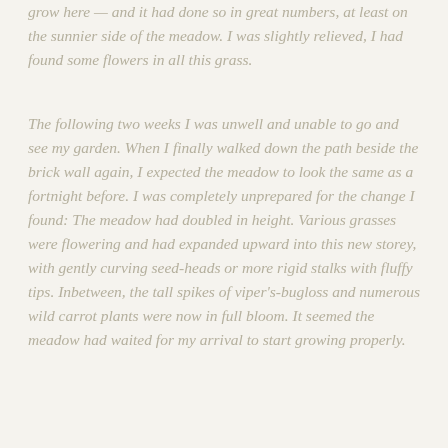grow here — and it had done so in great numbers, at least on the sunnier side of the meadow. I was slightly relieved, I had found some flowers in all this grass.
The following two weeks I was unwell and unable to go and see my garden. When I finally walked down the path beside the brick wall again, I expected the meadow to look the same as a fortnight before. I was completely unprepared for the change I found: The meadow had doubled in height. Various grasses were flowering and had expanded upward into this new storey, with gently curving seed-heads or more rigid stalks with fluffy tips. Inbetween, the tall spikes of viper's-bugloss and numerous wild carrot plants were now in full bloom. It seemed the meadow had waited for my arrival to start growing properly.